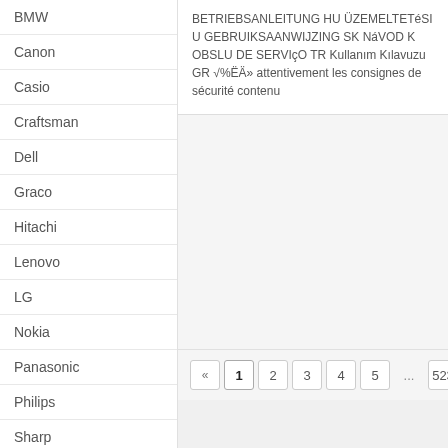BMW
Canon
Casio
Craftsman
Dell
Graco
Hitachi
Lenovo
LG
Nokia
Panasonic
Philips
Sharp
Sony
BETRIEBSANLEITUNG HU ÜZEMELTETéSI U GEBRUIKSAANWIJZING SK NáVOD K OBSLU DE SERVIçO TR Kullanım Kılavuzu GR √%ËÄ» attentivement les consignes de sécurité contenu
« 1 2 3 4 5 ... 523